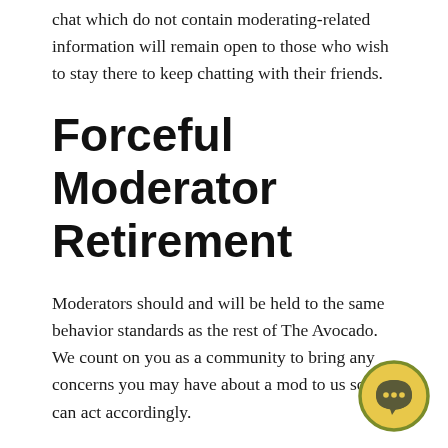chat which do not contain moderating-related information will remain open to those who wish to stay there to keep chatting with their friends.
Forceful Moderator Retirement
Moderators should and will be held to the same behavior standards as the rest of The Avocado. We count on you as a community to bring any concerns you may have about a mod to us so we can act accordingly.
For basic rule violations, mods will get two strikes instead of the usual three.
[Figure (illustration): A circular chat bubble icon with golden/yellow background and a speech bubble with dots inside, outlined in olive/dark yellow green color.]